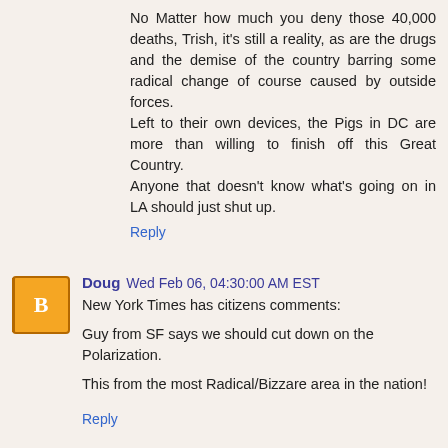No Matter how much you deny those 40,000 deaths, Trish, it's still a reality, as are the drugs and the demise of the country barring some radical change of course caused by outside forces.
Left to their own devices, the Pigs in DC are more than willing to finish off this Great Country.
Anyone that doesn't know what's going on in LA should just shut up.
Reply
Doug  Wed Feb 06, 04:30:00 AM EST
New York Times has citizens comments:

Guy from SF says we should cut down on the Polarization.

This from the most Radical/Bizzare area in the nation!
Reply
Doug  Wed Feb 06, 04:38:00 AM EST